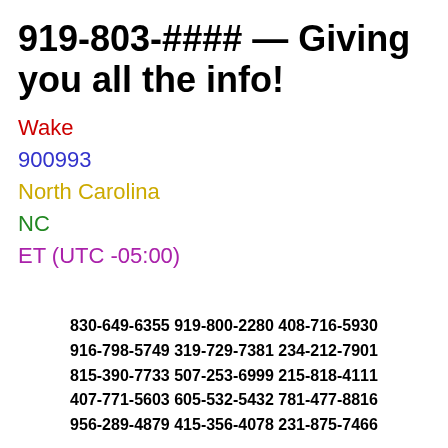919-803-#### — Giving you all the info!
Wake
900993
North Carolina
NC
ET (UTC -05:00)
830-649-6355 919-800-2280 408-716-5930
916-798-5749 319-729-7381 234-212-7901
815-390-7733 507-253-6999 215-818-4111
407-771-5603 605-532-5432 781-477-8816
956-289-4879 415-356-4078 231-875-7466